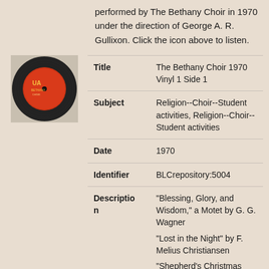performed by The Bethany Choir in 1970 under the direction of George A. R. Gullixon. Click the icon above to listen.
[Figure (photo): Red vinyl record label with orange-red color and gold text, showing a record album logo.]
| Title | The Bethany Choir 1970 Vinyl 1 Side 1 |
| Subject | Religion--Choir--Student activities, Religion--Choir--Student activities |
| Date | 1970 |
| Identifier | BLCrepository:5004 |
| Description | "Blessing, Glory, and Wisdom," a Motet by G. G. Wagner
"Lost in the Night" by F. Melius Christiansen
"Shepherd's Christmas Song" |